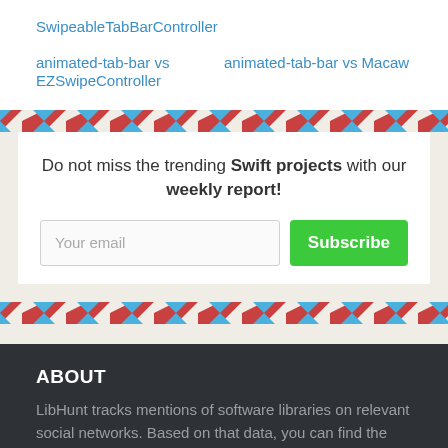SwipeableTabBarController
animated-tab-bar vs EZSwipeController
animated-tab-bar vs Macaw
Do not miss the trending Swift projects with our weekly report!
Your email
Subscribe
ABOUT
LibHunt tracks mentions of software libraries on relevant social networks. Based on that data, you can find the